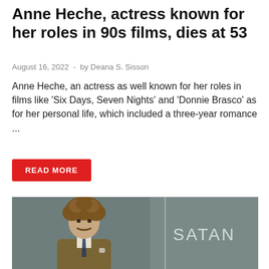Anne Heche, actress known for her roles in 90s films, dies at 53
August 16, 2022  -  by Deana S. Sisson
Anne Heche, an actress as well known for her roles in films like 'Six Days, Seven Nights' and 'Donnie Brasco' as for her personal life, which included a three-year romance ...
READ MORE
[Figure (photo): A man with curly brown hair and a mustache, wearing a brown corduroy suit with a striped tie, standing in front of a chalkboard with the word 'SATAN' written on it.]